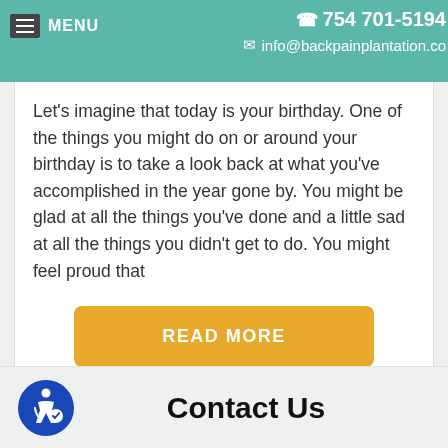MENU  754 701-5194  info@backpainplantation.co
Let's imagine that today is your birthday. One of the things you might do on or around your birthday is to take a look back at what you've accomplished in the year gone by. You might be glad at all the things you've done and a little sad at all the things you didn't get to do. You might feel proud that
READ MORE
Contact Us